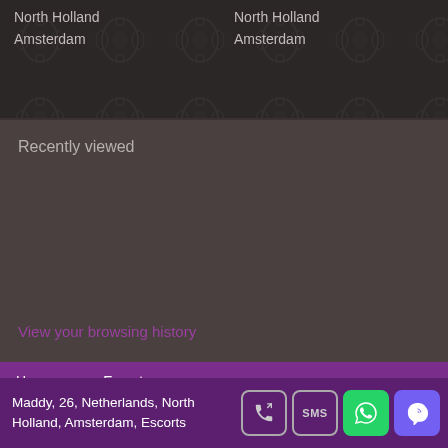North Holland
Amsterdam
North Holland
Amsterdam
Recently viewed
View your browsing history
Home   Escorts
Maddy, 26, Netherlands, North Holland, Amsterdam, Escorts